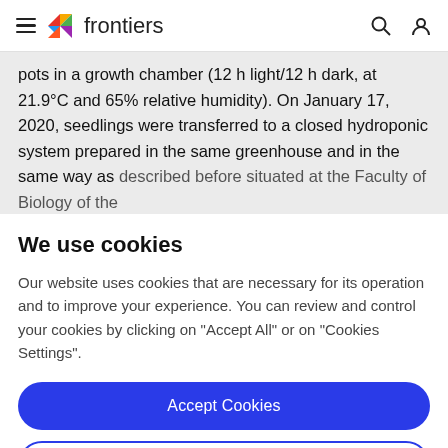frontiers
pots in a growth chamber (12 h light/12 h dark, at 21.9°C and 65% relative humidity). On January 17, 2020, seedlings were transferred to a closed hydroponic system prepared in the same greenhouse and in the same way as described before situated at the Faculty of Biology of the
We use cookies
Our website uses cookies that are necessary for its operation and to improve your experience. You can review and control your cookies by clicking on "Accept All" or on "Cookies Settings".
Accept Cookies
Cookies Settings